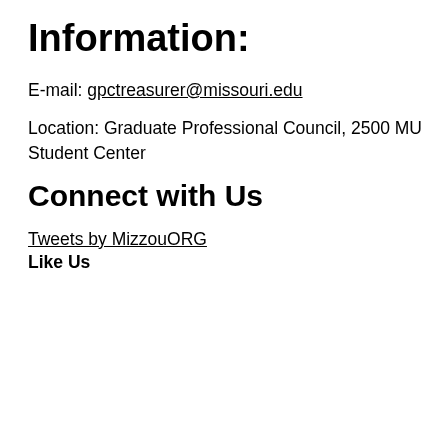Information:
E-mail: gpctreasurer@missouri.edu
Location: Graduate Professional Council, 2500 MU Student Center
Connect with Us
Tweets by MizzouORG
Like Us